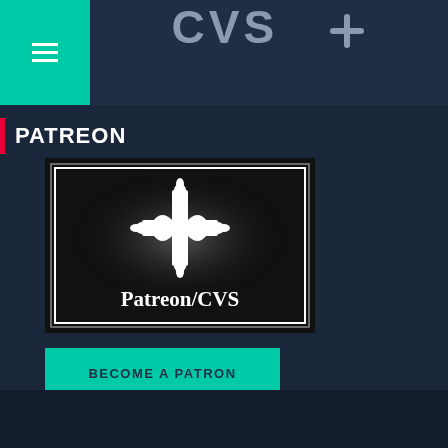CVS ✦
PATREON
[Figure (illustration): Black banner image with a decorative cross/fleur logo in white and text 'Patreon/CVS' in white serif font on dark textured background with white border frame]
BECOME A PATRON
COPYRIGHT DAVID ROSS © 2022
CONTACT ME